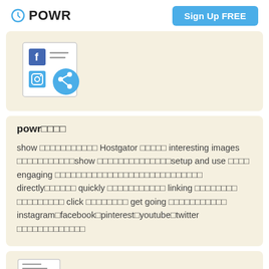POWR  Sign Up FREE
[Figure (illustration): Social media feed icon with Facebook 'f' logo, Instagram camera icon, share symbol, and text lines]
powr□□□□
show □□□□□□□□□□□ Hostgator □□□□□ interesting images □□□□□□□□□□□show □□□□□□□□□□□□□□setup and use □□□□ engaging □□□□□□□□□□□□□□□□□□□□□□□□□□□□ directly□□□□□□ quickly □□□□□□□□□□□ linking □□□□□□□□ □□□□□□□□□ click □□□□□□□□ get going □□□□□□□□□□□ instagram□facebook□pinterest□youtube□twitter □□□□□□□□□□□□□
[Figure (illustration): Document/feed icon at bottom of page]